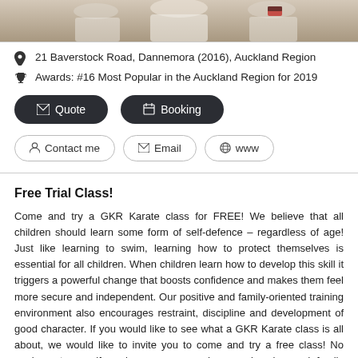[Figure (photo): Partial photo of karate students/instructor in white uniforms at the top of the page]
21 Baverstock Road, Dannemora (2016), Auckland Region
Awards: #16 Most Popular in the Auckland Region for 2019
Quote
Booking
Contact me
Email
www
Free Trial Class!
Come and try a GKR Karate class for FREE! We believe that all children should learn some form of self-defence – regardless of age! Just like learning to swim, learning how to protect themselves is essential for all children. When children learn how to develop this skill it triggers a powerful change that boosts confidence and makes them feel more secure and independent. Our positive and family-oriented training environment also encourages restraint, discipline and development of good character. If you would like to see what a GKR Karate class is all about, we would like to invite you to come and try a free class! No equipment or uniform is necessary and our welcoming and family friendly environment will help you to get the most out of your trial class. There is no obligation and parents / other family and friends are encouraged to join in! To take advantage of this offer, please hit the "Claim This Offer" button and our friendly instructor will be in touch to get